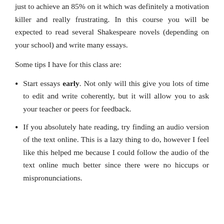just to achieve an 85% on it which was definitely a motivation killer and really frustrating. In this course you will be expected to read several Shakespeare novels (depending on your school) and write many essays.
Some tips I have for this class are:
Start essays early. Not only will this give you lots of time to edit and write coherently, but it will allow you to ask your teacher or peers for feedback.
If you absolutely hate reading, try finding an audio version of the text online. This is a lazy thing to do, however I feel like this helped me because I could follow the audio of the text online much better since there were no hiccups or mispronunciations.